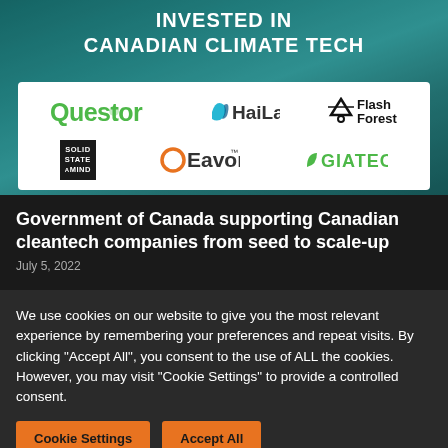[Figure (infographic): Banner with teal/green background showing 'INVESTED IN CANADIAN CLIMATE TECH' title and a white logo strip featuring six company logos: Questor, HaiLa, Flash Forest, Solid State a Mind, Eavor, and GIATEC]
Government of Canada supporting Canadian cleantech companies from seed to scale-up
July 5, 2022
We use cookies on our website to give you the most relevant experience by remembering your preferences and repeat visits. By clicking "Accept All", you consent to the use of ALL the cookies. However, you may visit "Cookie Settings" to provide a controlled consent.
Cookie Settings | Accept All